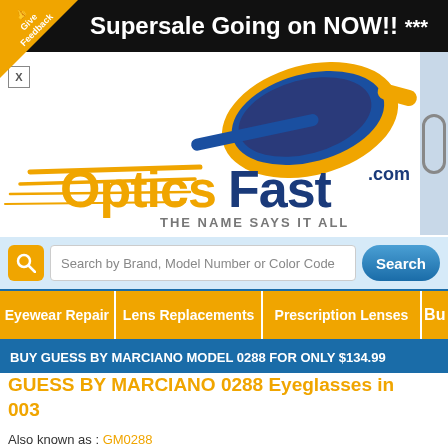Supersale Going on NOW!! ***
[Figure (logo): OpticsFast.com logo with orange sunglasses and speed lines, tagline: THE NAME SAYS IT ALL]
Search by Brand, Model Number or Color Code
Eyewear Repair
Lens Replacements
Prescription Lenses
Bu
BUY GUESS BY MARCIANO MODEL 0288 FOR ONLY $134.99
GUESS BY MARCIANO 0288 Eyeglasses in 003
Also known as : GM0288
<< Back to GUESS BY MARCIANO Eyeglasses